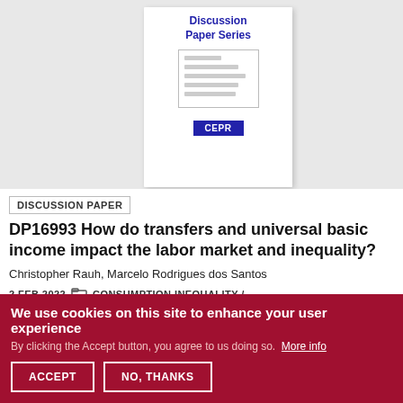[Figure (illustration): CEPR Discussion Paper Series book cover illustration showing a white booklet with 'Discussion Paper Series' title in blue, placeholder text lines, and a CEPR logo badge]
DISCUSSION PAPER
DP16993 How do transfers and universal basic income impact the labor market and inequality?
Christopher Rauh, Marcelo Rodrigues dos Santos
2 FEB 2022  CONSUMPTION INEQUALITY /
We use cookies on this site to enhance your user experience
By clicking the Accept button, you agree to us doing so. More info
ACCEPT   NO, THANKS